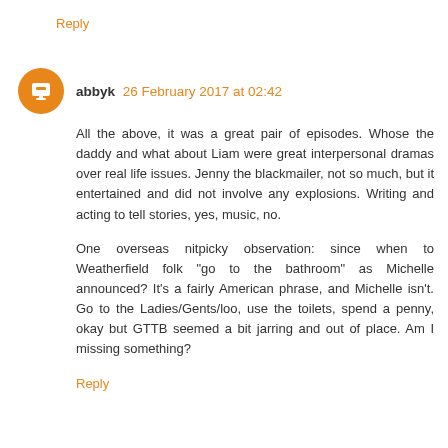Reply
abbyk 26 February 2017 at 02:42
All the above, it was a great pair of episodes. Whose the daddy and what about Liam were great interpersonal dramas over real life issues. Jenny the blackmailer, not so much, but it entertained and did not involve any explosions. Writing and acting to tell stories, yes, music, no.

One overseas nitpicky observation: since when to Weatherfield folk "go to the bathroom" as Michelle announced? It's a fairly American phrase, and Michelle isn't. Go to the Ladies/Gents/loo, use the toilets, spend a penny, okay but GTTB seemed a bit jarring and out of place. Am I missing something?
Reply